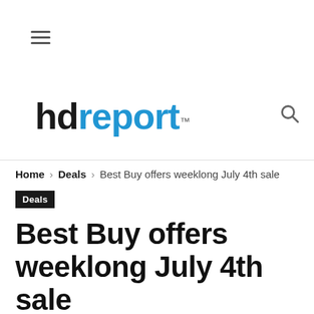[Figure (logo): hdreport logo with hamburger menu icon and search icon]
Home › Deals › Best Buy offers weeklong July 4th sale
Deals
Best Buy offers weeklong July 4th sale